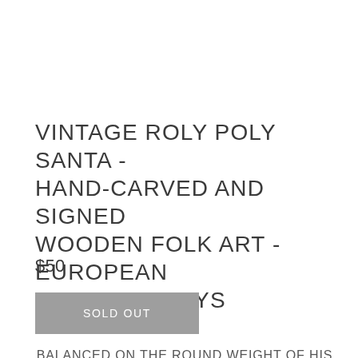VINTAGE ROLY POLY SANTA - HAND-CARVED AND SIGNED WOODEN FOLK ART - EUROPEAN PRIMITIVE TOYS
$50
SOLD OUT
BALANCED ON THE ROUND WEIGHT OF HIS BELLY, THIS JOLLY OLD SANTA WEEBLES AND WOBBLES HIS WAY THROUGH THE HOLIDAY SEASON IN THE MOST CHEERFUL